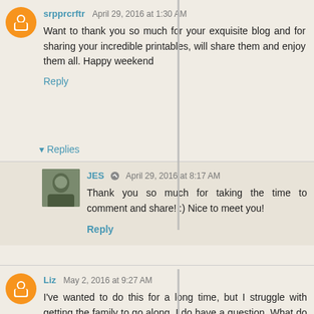srpprcrftr April 29, 2016 at 1:30 AM
Want to thank you so much for your exquisite blog and for sharing your incredible printables, will share them and enjoy them all. Happy weekend
Reply
▾ Replies
JES April 29, 2016 at 8:17 AM
Thank you so much for taking the time to comment and share! :) Nice to meet you!
Reply
Liz May 2, 2016 at 9:27 AM
I've wanted to do this for a long time, but I struggle with getting the family to go along. I do have a question. What do you do about grease? That is one of my problems with rags. Then it seems to get everything greasy. There must